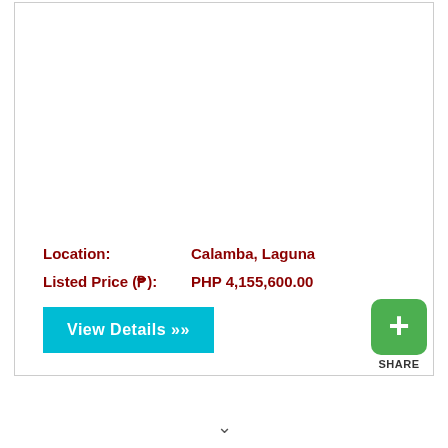Location:   Calamba, Laguna
Listed Price (₱):   PHP 4,155,600.00
View Details ››
[Figure (other): Green share button with plus icon and SHARE label]